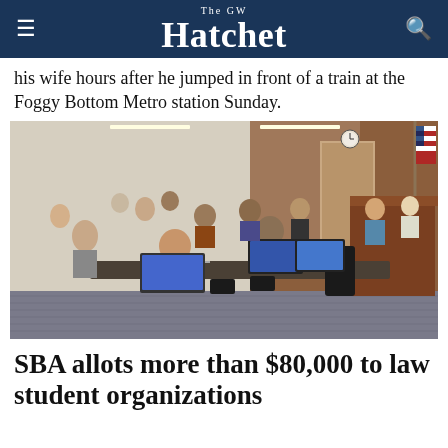The GW Hatchet
his wife hours after he jumped in front of a train at the Foggy Bottom Metro station Sunday.
[Figure (photo): A classroom or courtroom-style meeting room with students seated at desks using laptops, facing a raised podium area with two people seated behind it. An American flag is visible in the background. The room has wood-paneled walls and modern lighting.]
SBA allots more than $80,000 to law student organizations